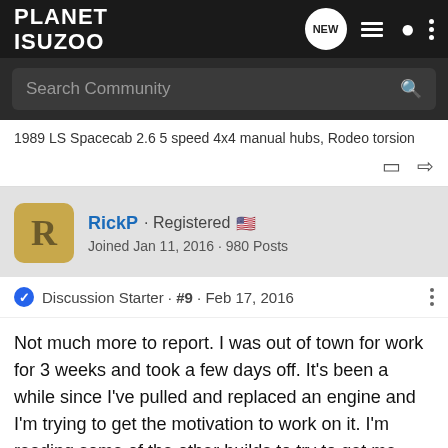PLANET ISUZOO
Search Community
1989 LS Spacecab 2.6 5 speed 4x4 manual hubs, Rodeo torsion
RickP · Registered 🇺🇸
Joined Jan 11, 2016 · 980 Posts
Discussion Starter · #9 · Feb 17, 2016
Not much more to report. I was out of town for work for 3 weeks and took a few days off. It's been a while since I've pulled and replaced an engine and I'm trying to get the motivation to work on it. I'm reading some of the other builds to try to get me going, but the shop isn't heated and it's about 45 degrees out there